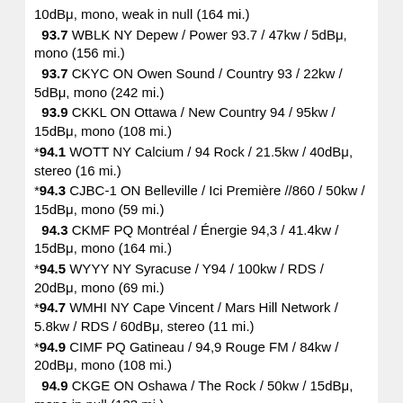10dBμ, mono, weak in null (164 mi.)
93.7 WBLK NY Depew / Power 93.7 / 47kw / 5dBμ, mono (156 mi.)
93.7 CKYC ON Owen Sound / Country 93 / 22kw / 5dBμ, mono (242 mi.)
93.9 CKKL ON Ottawa / New Country 94 / 95kw / 15dBμ, mono (108 mi.)
*94.1 WOTT NY Calcium / 94 Rock / 21.5kw / 40dBμ, stereo (16 mi.)
*94.3 CJBC-1 ON Belleville / Ici Première //860 / 50kw / 15dBμ, mono (59 mi.)
94.3 CKMF PQ Montréal / Énergie 94,3 / 41.4kw / 15dBμ, mono (164 mi.)
*94.5 WYYY NY Syracuse / Y94 / 100kw / RDS / 20dBμ, mono (69 mi.)
*94.7 WMHI NY Cape Vincent / Mars Hill Network / 5.8kw / RDS / 60dBμ, stereo (11 mi.)
*94.9 CIMF PQ Gatineau / 94,9 Rouge FM / 84kw / 20dBμ, mono (108 mi.)
94.9 CKGE ON Oshawa / The Rock / 50kw / 15dBμ, mono in null (133 mi.)
95.1 CBF PQ Montréal / Ici Première Montréal / 100kw